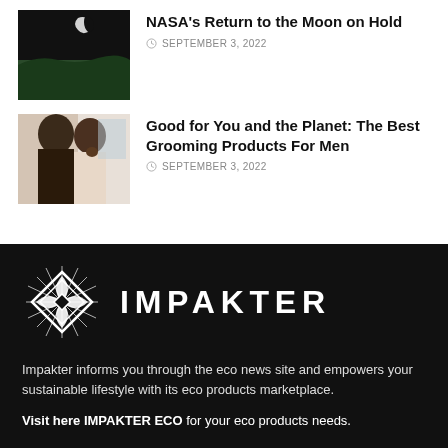[Figure (photo): Night sky photo showing crescent moon above lunar surface horizon]
NASA's Return to the Moon on Hold
SEPTEMBER 3, 2022
[Figure (photo): Two men grooming, one touching his face in a bathroom setting]
Good for You and the Planet: The Best Grooming Products For Men
SEPTEMBER 3, 2022
[Figure (logo): Impakter logo: decorative geometric/leaf mandala symbol in white on black background with the word IMPAKTER in white capital letters]
Impakter informs you through the eco news site and empowers your sustainable lifestyle with its eco products marketplace.
Visit here IMPAKTER ECO for your eco products needs.